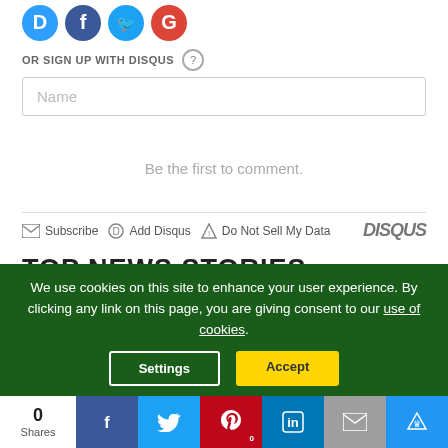[Figure (logo): Social login icons: Disqus (blue D), Facebook (blue F), Twitter (blue bird), Google (red G) in colored circles]
OR SIGN UP WITH DISQUS ?
Name
Be the first to comment.
Subscribe  Add Disqus  Do Not Sell My Data  DISQUS
TOP NEWS STORIES
We use cookies on this site to enhance your user experience. By clicking any link on this page, you are giving consent to our use of cookies.
Settings
Accept
0
Shares